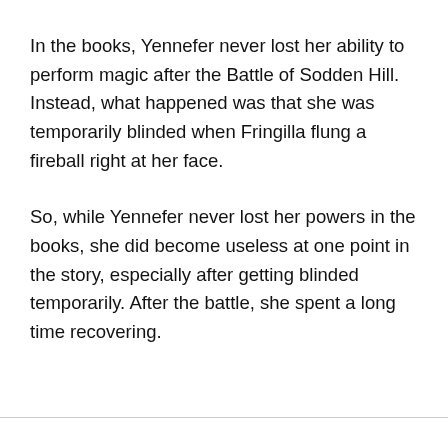In the books, Yennefer never lost her ability to perform magic after the Battle of Sodden Hill. Instead, what happened was that she was temporarily blinded when Fringilla flung a fireball right at her face.
So, while Yennefer never lost her powers in the books, she did become useless at one point in the story, especially after getting blinded temporarily. After the battle, she spent a long time recovering.